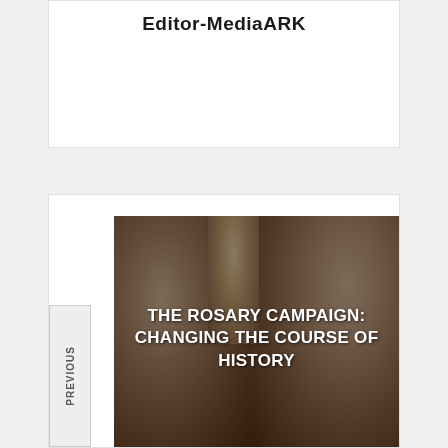Editor-MediaARK
[Figure (photo): Two monks in grey habits seated side by side with a wooden cross on the wall behind them, with white bold text overlay reading 'THE ROSARY CAMPAIGN: CHANGING THE COURSE OF HISTORY']
PREVIOUS